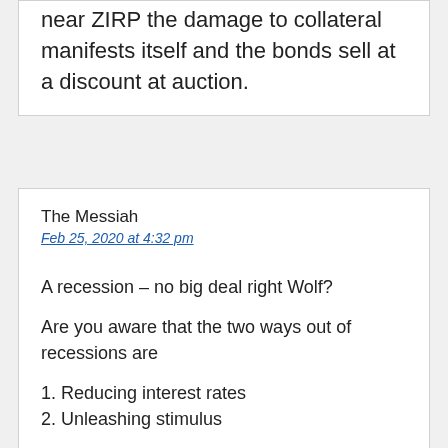near ZIRP the damage to collateral manifests itself and the bonds sell at a discount at auction.
The Messiah
Feb 25, 2020 at 4:32 pm
A recession – no big deal right Wolf?
Are you aware that the two ways out of recessions are
1. Reducing interest rates
2. Unleashing stimulus
In case you have not noticed, interest rates are already at record lows and pushing them lower only serves to